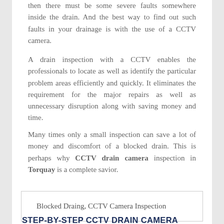then there must be some severe faults somewhere inside the drain. And the best way to find out such faults in your drainage is with the use of a CCTV camera.
A drain inspection with a CCTV enables the professionals to locate as well as identify the particular problem areas efficiently and quickly. It eliminates the requirement for the major repairs as well as unnecessary disruption along with saving money and time.
Many times only a small inspection can save a lot of money and discomfort of a blocked drain. This is perhaps why CCTV drain camera inspection in Torquay is a complete savior.
Blocked Draing, CCTV Camera Inspection
STEP-BY-STEP CCTV DRAIN CAMERA INSPECTION